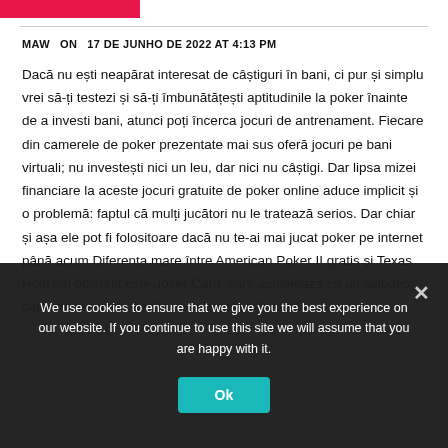[Figure (other): Red/pink horizontal rectangle brand bar at top left]
MAW  ON  17 DE JUNHO DE 2022 AT 4:13 PM
Dacă nu ești neapărat interesat de câștiguri în bani, ci pur și simplu vrei să-ți testezi și să-ți îmbunătățești aptitudinile la poker înainte de a investi bani, atunci poți încerca jocuri de antrenament. Fiecare din camerele de poker prezentate mai sus oferă jocuri pe bani virtuali; nu investești nici un leu, dar nici nu câștigi. Dar lipsa mizei financiare la aceste jocuri gratuite de poker online aduce implicit și o problemă: faptul că mulți jucători nu le tratează serios. Dar chiar și așa ele pot fi folositoare dacă nu te-ai mai jucat poker pe internet până acum Diferența mare între American Poker II gratis și Texas Hold'em obișnuit este Joker Card, care acționează ca un sălbatic, care poate înlocui cărțile lipsa pentru a finaliza o
We use cookies to ensure that we give you the best experience on our website. If you continue to use this site we will assume that you are happy with it.